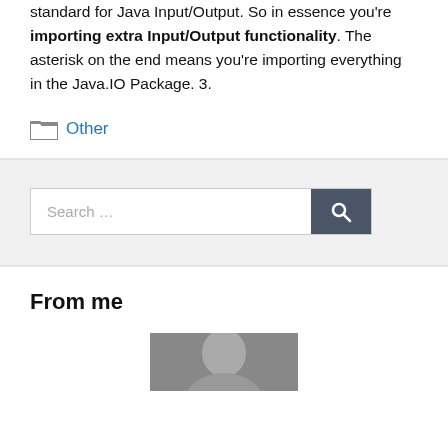standard for Java Input/Output. So in essence you're importing extra Input/Output functionality. The asterisk on the end means you're importing everything in the Java.IO Package. 3.
Other
[Figure (screenshot): Search box with text 'Search ...' and a dark search button with magnifying glass icon]
From me
[Figure (photo): Partial photo of a person's face, cropped at bottom of page]